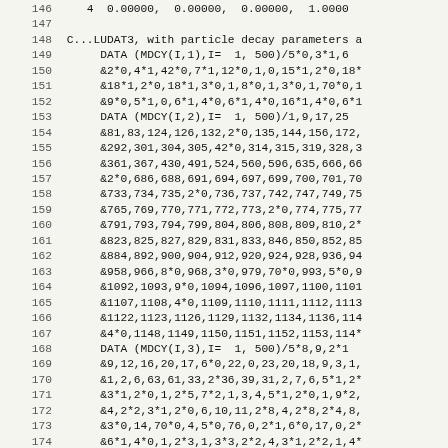146   4  0.00000,  0.00000,  0.00000,  1.0000
147
148 C...LUDAT3, with particle decay parameters a
149       DATA (MDCY(I,1),I=  1, 500)/5*0,3*1,6
150       &2*0,4*1,42*0,7*1,12*0,1,0,15*1,2*0,18*
151       &18*1,2*0,18*1,3*0,1,8*0,1,3*0,1,70*0,1
152       &9*0,5*1,0,6*1,4*0,6*1,4*0,16*1,4*0,6*1
153       DATA (MDCY(I,2),I=  1, 500)/1,9,17,25
154       &81,83,124,126,132,2*0,135,144,156,172,
155       &292,301,304,305,42*0,314,315,319,328,3
156       &361,367,430,491,524,560,596,635,666,66
157       &2*0,686,688,691,694,697,699,700,701,70
158       &733,734,735,2*0,736,737,742,747,749,75
159       &765,769,770,771,772,773,2*0,774,775,77
160       &791,793,794,799,804,806,808,809,810,2*
161       &823,825,827,829,831,833,846,850,852,85
162       &884,892,900,904,912,920,924,928,936,94
163       &958,966,8*0,968,3*0,979,70*0,993,5*0,9
164       &1092,1093,9*0,1094,1096,1097,1100,1101
165       &1107,1108,4*0,1109,1110,1111,1112,1113
166       &1122,1123,1126,1129,1132,1134,1136,114
167       &4*0,1148,1149,1150,1151,1152,1153,114*
168       DATA (MDCY(I,3),I=  1, 500)/5*8,9,2*1
169       &9,12,16,20,17,6*0,22,0,23,20,18,9,3,1,
170       &1,2,6,63,61,33,2*36,39,31,2,7,6,5*1,2*
171       &3*1,2*0,1,2*5,7*2,1,3,4,5*1,2*0,1,9*2,
172       &4,2*2,3*1,2*0,6,10,11,2*8,4,2*8,2*4,8,
173       &3*0,14,70*0,4,5*0,76,0,2*1,6*0,17,0,2*
174       &6*1,4*0,1,2*3,1,3*3,2*2,4,3*1,2*2,1,4*
175       DATA (MDME(I,1),I=  1,2000)/6*1,-1,7*
176       &7*1,-1,1,-1,8*1,2*-1,8*1,2*-1,61*1,-1,
177       &3*1,-1,6*1,2*-1,6*1,2*-1,3*1,-1,3*1,-1
178       &2*1,-1,11*1,2*-1,6*1,0*-1,2*1,-1,2*1,1